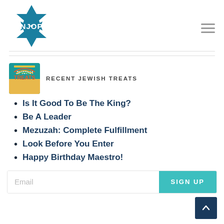NJOP logo and navigation menu
RECENT JEWISH TREATS
Is It Good To Be The King?
Be A Leader
Mezuzah: Complete Fulfillment
Look Before You Enter
Happy Birthday Maestro!
Email | SIGN UP